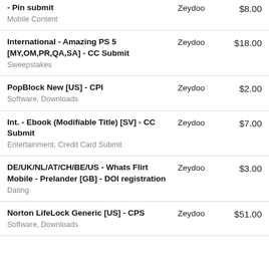| Offer | Network | Price |
| --- | --- | --- |
| - Pin submit
Mobile Content | Zeydoo | $8.00 |
| International - Amazing PS 5 [MY,OM,PR,QA,SA] - CC Submit
Sweepstakes | Zeydoo | $18.00 |
| PopBlock New [US] - CPI
Software, Downloads | Zeydoo | $2.00 |
| Int. - Ebook (Modifiable Title) [SV] - CC Submit
Entertainment, Credit Card Submit | Zeydoo | $7.00 |
| DE/UK/NL/AT/CH/BE/US - Whats Flirt Mobile - Prelander [GB] - DOI registration
Dating | Zeydoo | $3.00 |
| Norton LifeLock Generic [US] - CPS
Software, Downloads | Zeydoo | $51.00 |